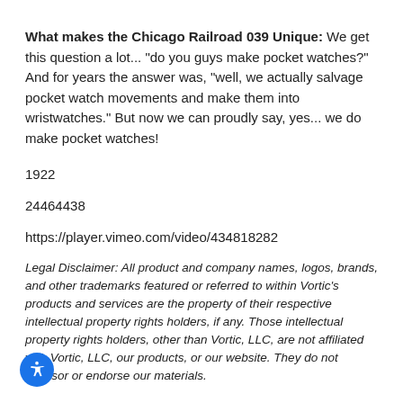What makes the Chicago Railroad 039 Unique: We get this question a lot... "do you guys make pocket watches?" And for years the answer was, "well, we actually salvage pocket watch movements and make them into wristwatches." But now we can proudly say, yes... we do make pocket watches!
1922
24464438
https://player.vimeo.com/video/434818282
Legal Disclaimer: All product and company names, logos, brands, and other trademarks featured or referred to within Vortic's products and services are the property of their respective intellectual property rights holders, if any. Those intellectual property rights holders, other than Vortic, LLC, are not affiliated with Vortic, LLC, our products, or our website. They do not sponsor or endorse our materials.